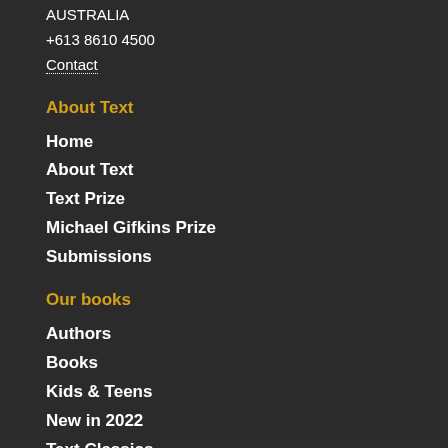AUSTRALIA
+613 8610 4500
Contact
About Text
Home
About Text
Text Prize
Michael Gifkins Prize
Submissions
Our books
Authors
Books
Kids & Teens
New in 2022
Text Classics
Translated